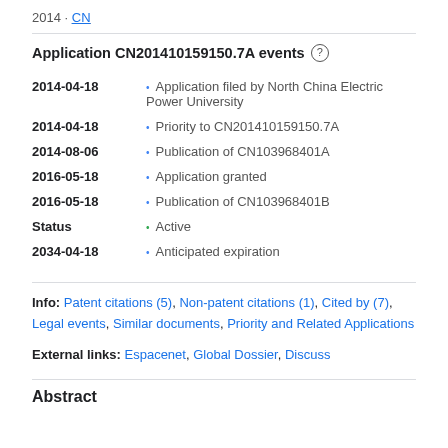2014 · CN
Application CN201410159150.7A events ⓘ
2014-04-18 • Application filed by North China Electric Power University
2014-04-18 • Priority to CN201410159150.7A
2014-08-06 • Publication of CN103968401A
2016-05-18 • Application granted
2016-05-18 • Publication of CN103968401B
Status • Active
2034-04-18 • Anticipated expiration
Info: Patent citations (5), Non-patent citations (1), Cited by (7), Legal events, Similar documents, Priority and Related Applications
External links: Espacenet, Global Dossier, Discuss
Abstract